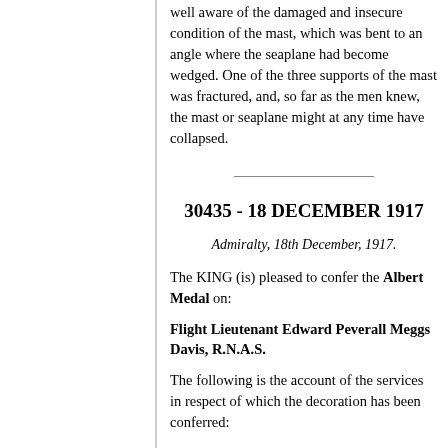well aware of the damaged and insecure condition of the mast, which was bent to an angle where the seaplane had become wedged. One of the three supports of the mast was fractured, and, so far as the men knew, the mast or seaplane might at any time have collapsed.
30435 - 18 DECEMBER 1917
Admiralty, 18th December, 1917.
The KING (is) pleased to confer the Albert Medal on:
Flight Lieutenant Edward Peverall Meggs Davis, R.N.A.S.
The following is the account of the services in respect of which the decoration has been conferred:
On the 3rd October, 1917, whilst carrying out a practice flight, a